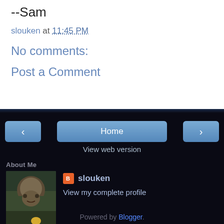--Sam
slouken at 11:45 PM
No comments:
Post a Comment
< Home >
View web version
About Me
slouken
View my complete profile
Powered by Blogger.